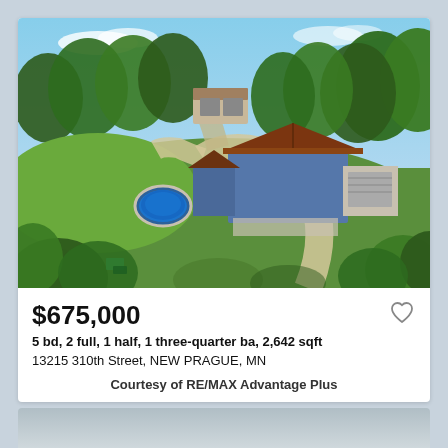[Figure (photo): Aerial drone photo of a rural property with a blue two-story house, attached garage, detached garage/outbuilding, circular driveway, above-ground pool, and surrounding trees and green lawn in summer.]
$675,000
5 bd, 2 full, 1 half, 1 three-quarter ba, 2,642 sqft
13215 310th Street, NEW PRAGUE, MN
Courtesy of RE/MAX Advantage Plus
[Figure (photo): Partial view of a second listing card peeking from the bottom.]